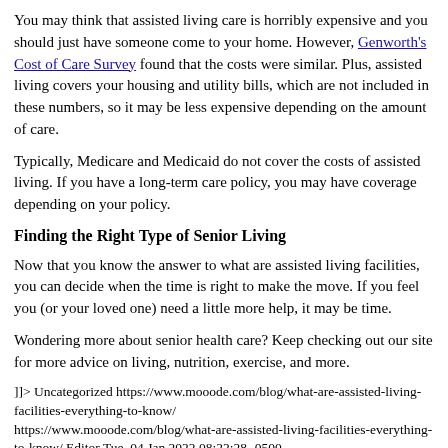You may think that assisted living care is horribly expensive and you should just have someone come to your home. However, Genworth's Cost of Care Survey found that the costs were similar. Plus, assisted living covers your housing and utility bills, which are not included in these numbers, so it may be less expensive depending on the amount of care.
Typically, Medicare and Medicaid do not cover the costs of assisted living. If you have a long-term care policy, you may have coverage depending on your policy.
Finding the Right Type of Senior Living
Now that you know the answer to what are assisted living facilities, you can decide when the time is right to make the move. If you feel you (or your loved one) need a little more help, it may be time.
Wondering more about senior health care? Keep checking out our site for more advice on living, nutrition, exercise, and more.
]]> Uncategorized https://www.mooode.com/blog/what-are-assisted-living-facilities-everything-to-know/ https://www.mooode.com/blog/what-are-assisted-living-facilities-everything-to-know/ Editor Tue, 04 Jan 2022 08:22:28 -0500